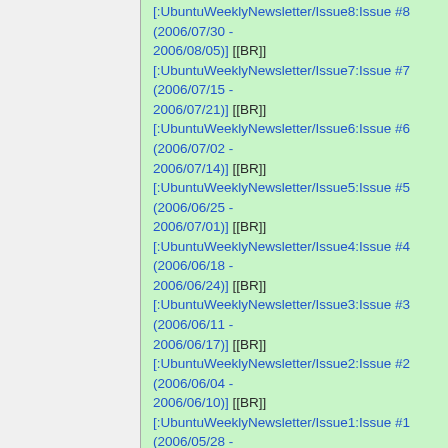[:UbuntuWeeklyNewsletter/Issue8:Issue #8 (2006/07/30 - 2006/08/05)] [[BR]]
[:UbuntuWeeklyNewsletter/Issue7:Issue #7 (2006/07/15 - 2006/07/21)] [[BR]]
[:UbuntuWeeklyNewsletter/Issue6:Issue #6 (2006/07/02 - 2006/07/14)] [[BR]]
[:UbuntuWeeklyNewsletter/Issue5:Issue #5 (2006/06/25 - 2006/07/01)] [[BR]]
[:UbuntuWeeklyNewsletter/Issue4:Issue #4 (2006/06/18 - 2006/06/24)] [[BR]]
[:UbuntuWeeklyNewsletter/Issue3:Issue #3 (2006/06/11 - 2006/06/17)] [[BR]]
[:UbuntuWeeklyNewsletter/Issue2:Issue #2 (2006/06/04 - 2006/06/10)] [[BR]]
[:UbuntuWeeklyNewsletter/Issue1:Issue #1 (2006/05/28 - 2006/06/03)] [[BR]]